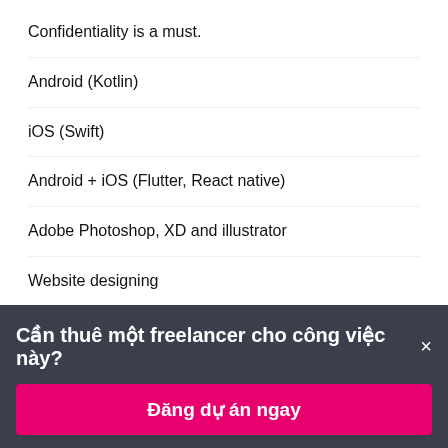Confidentiality is a must.
Android (Kotlin)
iOS (Swift)
Android + iOS (Flutter, React native)
Adobe Photoshop, XD and illustrator
Website designing
Application designing
Cần thuê một freelancer cho công việc này?×
Đăng dự án ngay